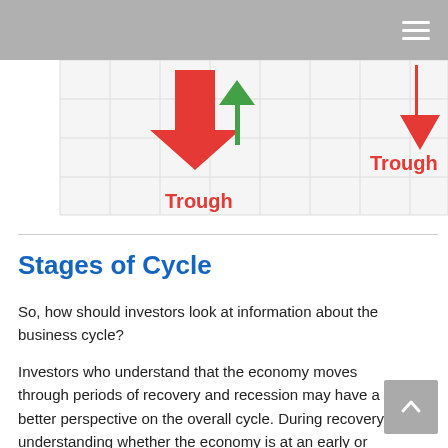[Figure (infographic): Partial view of a business cycle chart showing red downward arrows and a green upward arrow at trough points. The word 'Trough' appears in red at two locations on the chart over a gridded background.]
Stages of Cycle
So, how should investors look at information about the business cycle?
Investors who understand that the economy moves through periods of recovery and recession may have a better perspective on the overall cycle. During recovery, understanding whether the economy is at an early or late stage of the cycle may influence certain investment decisions. Conversely, during a recession, deciphering whether the economy is passing through a shallow or deep